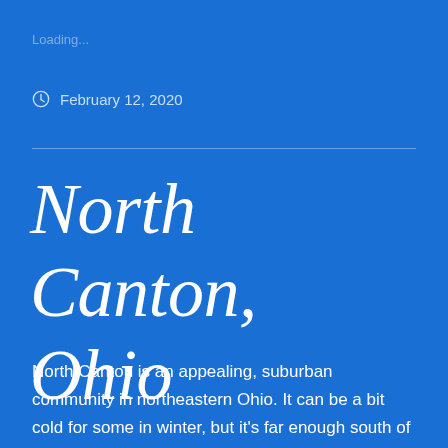Loading...
February 12, 2020
North Canton, Ohio
North Canton is an appealing, suburban community in northeastern Ohio. It can be a bit cold for some in winter, but it’s far enough south of Lake Erie that it doesn’t get plagued from the same heavy lake-effect